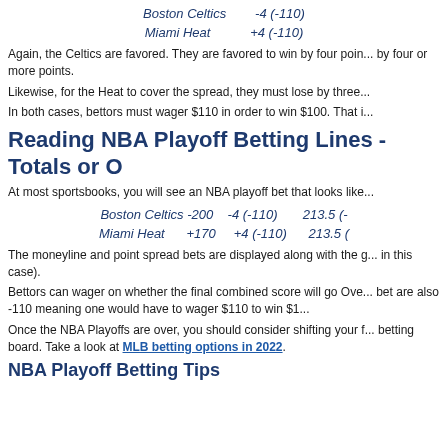Boston Celtics     -4 (-110)
Miami Heat     +4 (-110)
Again, the Celtics are favored. They are favored to win by four points or more, meaning they must win by four or more points.
Likewise, for the Heat to cover the spread, they must lose by three or fewer points.
In both cases, bettors must wager $110 in order to win $100. That is...
Reading NBA Playoff Betting Lines - Totals or O
At most sportsbooks, you will see an NBA playoff bet that looks like...
Boston Celtics -200     -4 (-110)     213.5 (-...
Miami Heat     +170     +4 (-110)     213.5 (...
The moneyline and point spread bets are displayed along with the g... in this case).
Bettors can wager on whether the final combined score will go Over... bet are also -110 meaning one would have to wager $110 to win $1...
Once the NBA Playoffs are over, you should consider shifting your f... betting board. Take a look at MLB betting options in 2022.
NBA Playoff Betting Tips